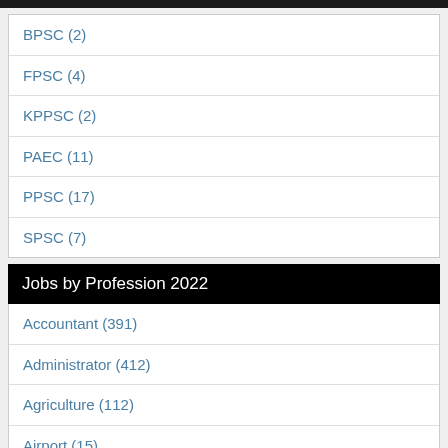BPSC (2)
FPSC (4)
KPPSC (2)
PAEC (11)
PPSC (17)
SPSC (7)
Jobs by Profession 2022
Accountant (391)
Administrator (412)
Agriculture (112)
Airport (15)
Architect (54)
Auditor (190)